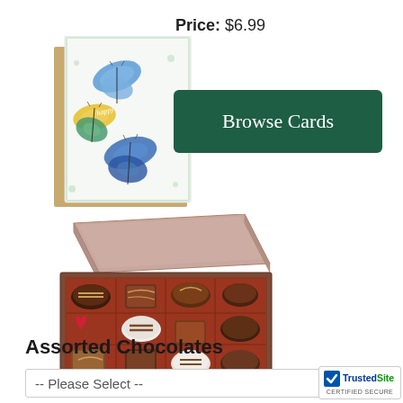Price: $6.99
[Figure (photo): A birthday greeting card with colorful butterfly illustrations on white background, with a kraft brown envelope behind it.]
Browse Cards
[Figure (photo): An open box of assorted chocolates with various truffles, a red heart-shaped chocolate, and striped chocolates arranged in individual compartments with a brown box lid.]
Assorted Chocolates
-- Please Select --